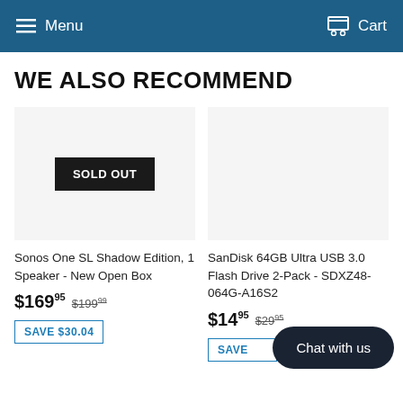Menu   Cart
WE ALSO RECOMMEND
SOLD OUT
Sonos One SL Shadow Edition, 1 Speaker - New Open Box
$169.95  $199.99
SAVE $30.04
SanDisk 64GB Ultra USB 3.0 Flash Drive 2-Pack - SDXZ48-064G-A16S2
$14.95  $29.95
SAVE
Chat with us